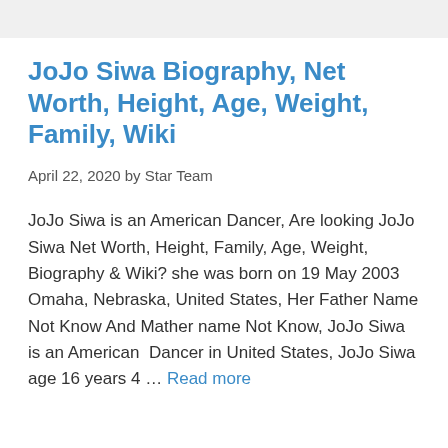JoJo Siwa Biography, Net Worth, Height, Age, Weight, Family, Wiki
April 22, 2020 by Star Team
JoJo Siwa is an American Dancer, Are looking JoJo Siwa Net Worth, Height, Family, Age, Weight, Biography & Wiki? she was born on 19 May 2003 Omaha, Nebraska, United States, Her Father Name Not Know And Mather name Not Know, JoJo Siwa is an American  Dancer in United States, JoJo Siwa age 16 years 4 … Read more